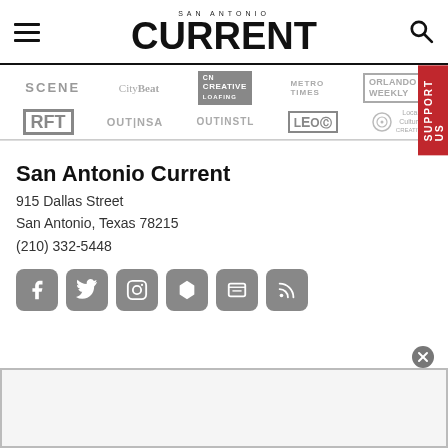SAN ANTONIO CURRENT
[Figure (logo): Network partner logos: SCENE, CityBeat, Creative Loafing, Metro Times, Orlando Weekly, RFT Riverfront Times, OUTINSA, OUTINSTL, LEO Weekly, Local Culture Creative]
San Antonio Current
915 Dallas Street
San Antonio, Texas 78215
(210) 332-5448
[Figure (infographic): Social media icons: Facebook, Twitter, Instagram, Apple News, Google News, RSS feed]